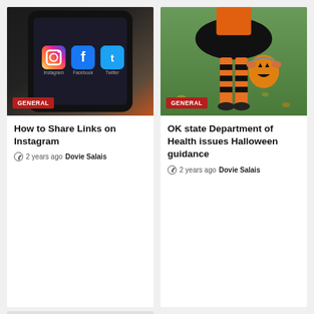[Figure (photo): Close-up of a smartphone screen showing social media app icons: Instagram, Facebook, and Twitter on a dark phone screen]
GENERAL
How to Share Links on Instagram
2 years ago  Dovie Salais
[Figure (photo): Child dressed in Halloween costume with orange and black striped stockings, black tutu skirt, holding an orange jack-o-lantern bucket, standing on grass]
GENERAL
OK state Department of Health issues Halloween guidance
2 years ago  Dovie Salais
[Figure (photo): Broken/missing image placeholder shown as a gray rectangle with a small broken image icon]